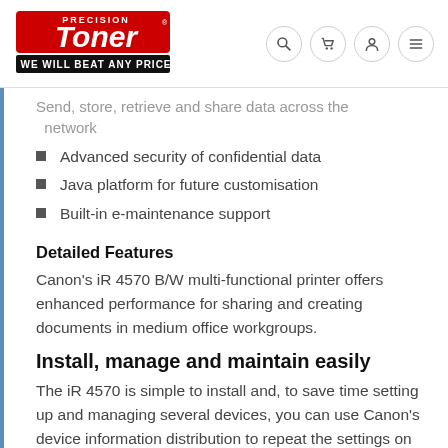Precision Toner — WE WILL BEAT ANY PRICE
Send, store, retrieve and share data across the network
Advanced security of confidential data
Java platform for future customisation
Built-in e-maintenance support
Detailed Features
Canon's iR 4570 B/W multi-functional printer offers enhanced performance for sharing and creating documents in medium office workgroups.
Install, manage and maintain easily
The iR 4570 is simple to install and, to save time setting up and managing several devices, you can use Canon's device information distribution to repeat the settings on one